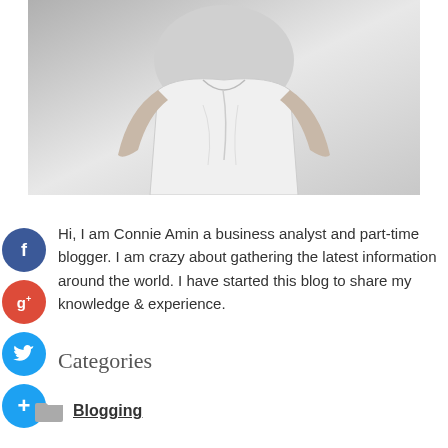[Figure (photo): Black and white photo of a person wearing a white top, cropped to show torso/shoulders area.]
Hi, I am Connie Amin a business analyst and part-time blogger. I am crazy about gathering the latest information around the world. I have started this blog to share my knowledge & experience.
Categories
Blogging